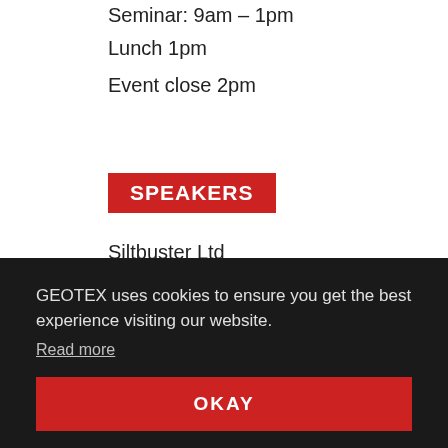Seminar: 9am – 1pm
Lunch 1pm
Event close 2pm
SPEAKERS
Siltbuster Ltd
Concrete Canvas
GEOTEX uses cookies to ensure you get the best experience visiting our website. Read more
OKAY